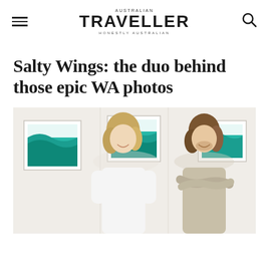AUSTRALIAN TRAVELLER — HONESTLY AUSTRALIAN
Salty Wings: the duo behind those epic WA photos
[Figure (photo): Two young men with long blond/brown hair standing in a bright white gallery space with framed aerial ocean/wave photography prints on the wall behind them. The man on the left wears a white oversized t-shirt and the man on the right wears a beige t-shirt with arms crossed, both smiling.]